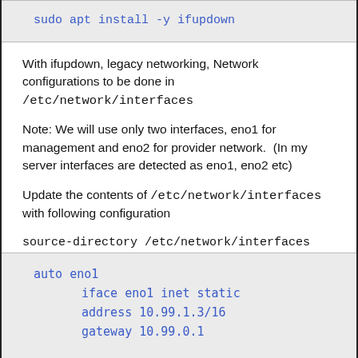sudo apt install -y ifupdown
With ifupdown, legacy networking, Network configurations to be done in /etc/network/interfaces
Note: We will use only two interfaces, eno1 for management and eno2 for provider network.  (In my server interfaces are detected as eno1, eno2 etc)
Update the contents of /etc/network/interfaces with following configuration
source-directory /etc/network/interfaces
auto eno1
    iface eno1 inet static
    address 10.99.1.3/16
    gateway 10.99.0.1